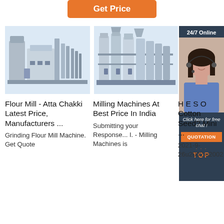[Figure (other): Orange 'Get Price' button at top center]
[Figure (photo): Flour mill / atta chakki industrial machine on light blue background]
[Figure (photo): Milling machines industrial equipment on light blue background]
[Figure (photo): Customer service agent with headset - 24/7 Online chat sidebar with QUOTATION button]
Flour Mill - Atta Chakki Latest Price, Manufacturers ...
Grinding Flour Mill Machine. Get Quote
Milling Machines At Best Price In India
Submitting your Response... I. - Milling Machines is
H E S O Cotton Seed? Mini ...
2021-9-26u2002·u2002F